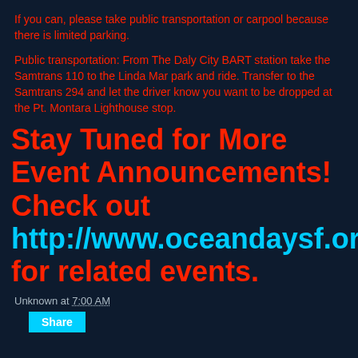If you can, please take public transportation or carpool because there is limited parking.
Public transportation: From The Daly City BART station take the Samtrans 110 to the Linda Mar park and ride. Transfer to the Samtrans 294 and let the driver know you want to be dropped at the Pt. Montara Lighthouse stop.
Stay Tuned for More Event Announcements! Check out http://www.oceandaysf.org for related events.
Unknown at 7:00 AM
Share